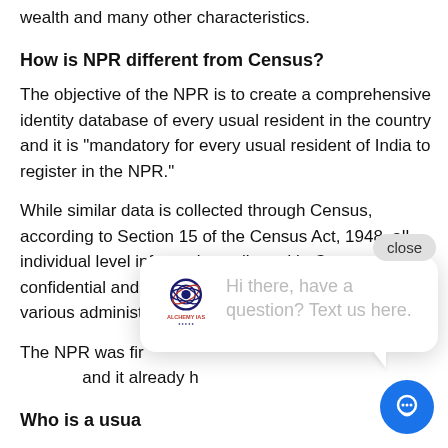wealth and many other characteristics.
How is NPR different from Census?
The objective of the NPR is to create a comprehensive identity database of every usual resident in the country and it is "mandatory for every usual resident of India to register in the NPR."
While similar data is collected through Census, according to Section 15 of the Census Act, 1948, all individual level information collected in Census is confidential and "only aggregated data are released at various administrative levels."
The NPR was first conducted in 2010 along with Census and it already h…
Who is a usual resident?
A usual resident is defined for the purposes of NPR as a person who has resided in a local area for the past 6 months or more or a person who intends to reside in the area for the next 6 months or more.